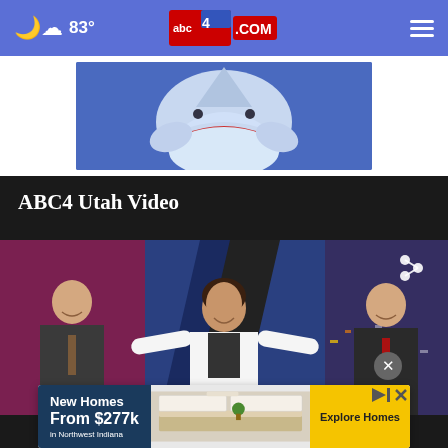☁ 83° | abc4.com | ☰
[Figure (illustration): Shark illustration with open mouth on blue background, partially visible from below]
ABC4 Utah Video
[Figure (screenshot): News broadcast screenshot showing three news anchors on set — two men and one woman in white blazer with arms outstretched, with share icon overlay]
[Figure (infographic): Advertisement banner: New Homes From $277k in Northwest Indiana — Explore Homes]